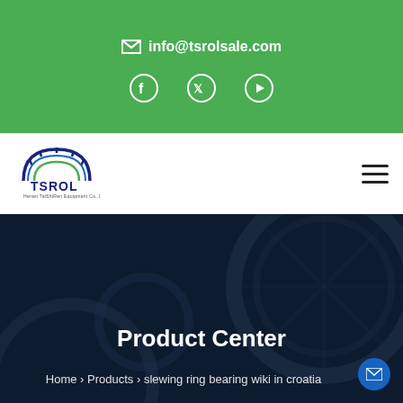info@tsrolsale.com
[Figure (logo): TSROL company logo with gear icon]
Product Center
Home > Products > slewing ring bearing wiki in croatia